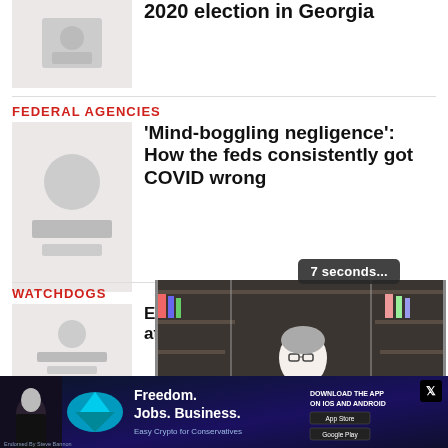[Figure (photo): Thumbnail image for article about 2020 election in Georgia]
…ping…rally 2020 election in Georgia
FEDERAL AGENCIES
[Figure (photo): Thumbnail image for article about COVID and federal agencies]
'Mind-boggling negligence': How the feds consistently got COVID wrong
7 seconds...
[Figure (screenshot): Video overlay showing a man sitting in front of bookshelves with video controls and Just the News logo]
WATCHDOGS
[Figure (photo): Thumbnail image for Watchdogs article about Education]
Educatio… underes… net cost of atten…
[Figure (other): Advertisement banner: Freedom. Jobs. Business. Easy Crypto for Conservatives. Download the app on iOS and Android. Endorsed by Steve Bannon.]